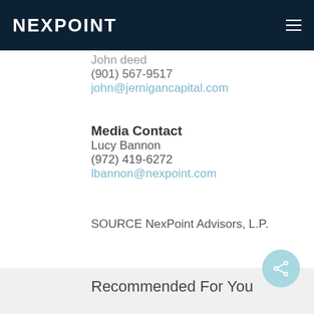NEXPOINT
John deed
(901) 567-9517
john@jernigancapital.com
Media Contact
Lucy Bannon
(972) 419-6272
lbannon@nexpoint.com
SOURCE NexPoint Advisors, L.P.
Recommended For You